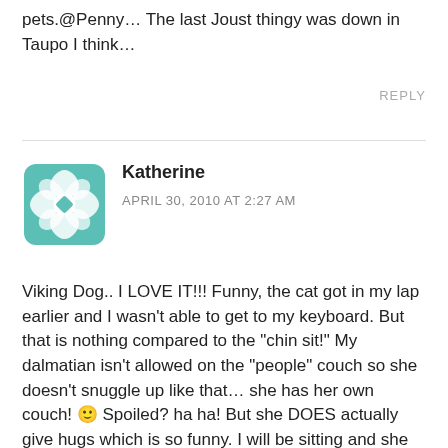pets.@Penny… The last Joust thingy was down in Taupo I think…
REPLY
[Figure (illustration): Teal/turquoise decorative avatar icon with geometric floral pattern]
Katherine
APRIL 30, 2010 AT 2:27 AM
Viking Dog.. I LOVE IT!!! Funny, the cat got in my lap earlier and I wasn't able to get to my keyboard. But that is nothing compared to the "chin sit!" My dalmatian isn't allowed on the "people" couch so she doesn't snuggle up like that… she has her own couch! 🙂 Spoiled? ha ha! But she DOES actually give hugs which is so funny. I will be sitting and she will come up and take one leg and wrap it over me somehow and push into me, hugging.That wire